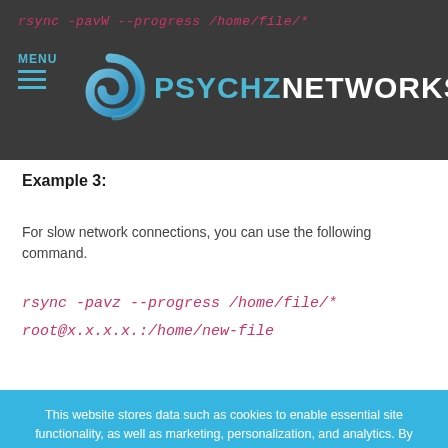rsync -pavW --progress /home/file/*
[Figure (logo): Psychz Networks logo with blue spiral graphic and text PSYCHZNETWORKS]
Example 3:
For slow network connections, you can use the following command.
This website stores data such as cookies to enable essential site functionality, as well as marketing, personalization, and analytics. By remaining on this website you indicate your consent. Cookie Policy